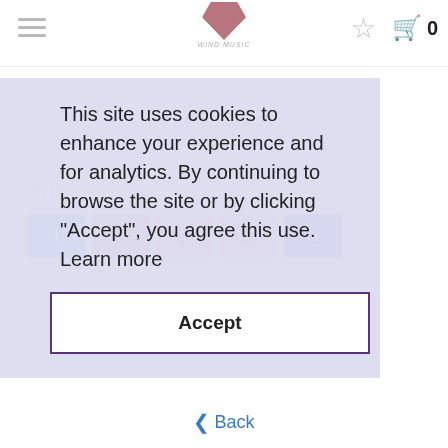[Figure (screenshot): Website screenshot showing a cookie consent overlay on a wind music shop page. The overlay reads: 'This site uses cookies to enhance your experience and for analytics. By continuing to browse the site or by clicking "Accept", you agree this use. Learn more' with an Accept button. Below the overlay is a 'Customers also bought' section with a 'No image available' product placeholder. A cart icon showing 0 items is in the top right. A Back button appears at the bottom.]
This site uses cookies to enhance your experience and for analytics. By continuing to browse the site or by clicking "Accept", you agree this use.  Learn more
Accept
Customers also bought
No image available
‹ Back